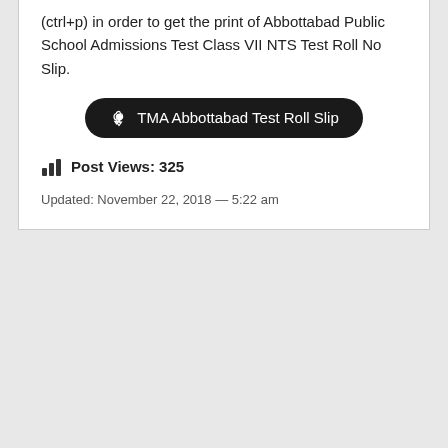(ctrl+p) in order to get the print of Abbottabad Public School Admissions Test Class VII NTS Test Roll No Slip.
TMA Abbottabad Test Roll Slip
Post Views: 325
Updated: November 22, 2018 — 5:22 am